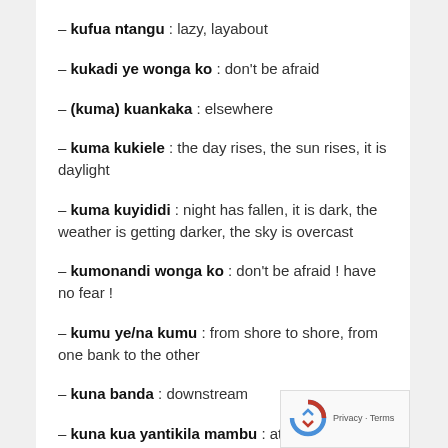– kufua ntangu : lazy, layabout
– kukadi ye wonga ko : don't be afraid
– (kuma) kuankaka : elsewhere
– kuma kukiele : the day rises, the sun rises, it is daylight
– kuma kuyididi : night has fallen, it is dark, the weather is getting darker, the sky is overcast
– kumonandi wonga ko : don't be afraid ! have no fear !
– kumu ye/na kumu : from shore to shore, from one bank to the other
– kuna banda : downstream
– kuna kua yantikila mambu : at the source of the c… where it all began